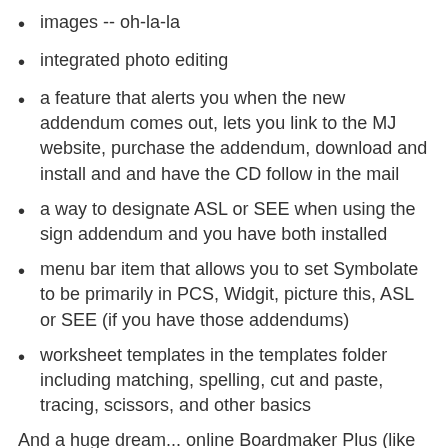images -- oh-la-la
integrated photo editing
a feature that alerts you when the new addendum comes out, lets you link to the MJ website, purchase the addendum, download and install and and have the CD follow in the mail
a way to designate ASL or SEE when using the sign addendum and you have both installed
menu bar item that allows you to set Symbolate to be primarily in PCS, Widgit, picture this, ASL or SEE (if you have those addendums)
worksheet templates in the templates folder including matching, spelling, cut and paste, tracing, scissors, and other basics
And a huge dream... online Boardmaker Plus (like Write Online).